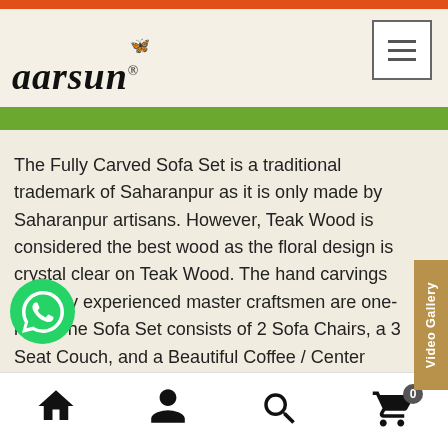aarsun
The Fully Carved Sofa Set is a traditional trademark of Saharanpur as it is only made by Saharanpur artisans. However, Teak Wood is considered the best wood as the floral design is crystal clear on Teak Wood. The hand carvings done by experienced master craftsmen are one-kind. The Sofa Set consists of 2 Sofa Chairs, a 3 Seat Couch, and a Beautiful Coffee / Center Table. The design is one of our most exported Sofa Sets all over the World. Details here
Home | Account | Search | Cart (0)